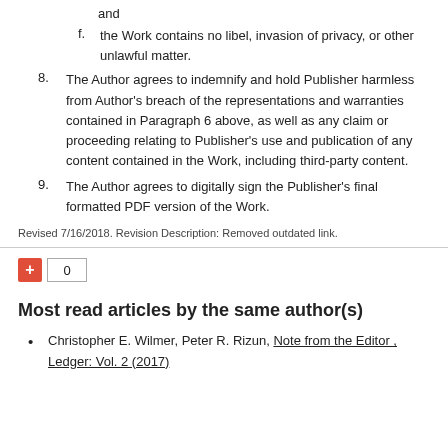and
f. the Work contains no libel, invasion of privacy, or other unlawful matter.
8. The Author agrees to indemnify and hold Publisher harmless from Author's breach of the representations and warranties contained in Paragraph 6 above, as well as any claim or proceeding relating to Publisher's use and publication of any content contained in the Work, including third-party content.
9. The Author agrees to digitally sign the Publisher's final formatted PDF version of the Work.
Revised 7/16/2018. Revision Description: Removed outdated link.
Most read articles by the same author(s)
Christopher E. Wilmer, Peter R. Rizun, Note from the Editor , Ledger: Vol. 2 (2017)